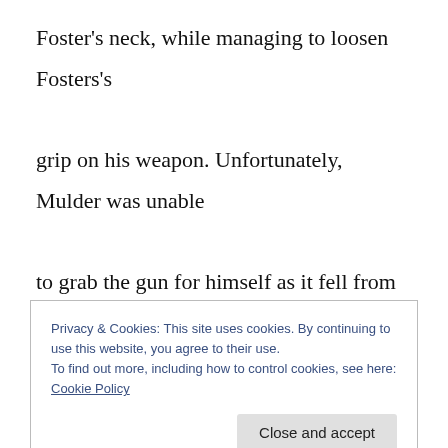Foster's neck, while managing to loosen Fosters's grip on his weapon. Unfortunately, Mulder was unable to grab the gun for himself as it fell from his opponent's hand.

Pushing off the ground, Mulder propelled himself to his feet as Foster struggled to reach for the lost gun. Mulder staggered, but managed to kick the gun
Privacy & Cookies: This site uses cookies. By continuing to use this website, you agree to their use.
To find out more, including how to control cookies, see here: Cookie Policy
Close and accept
…to about Mulder kicking at the back of Mulder…